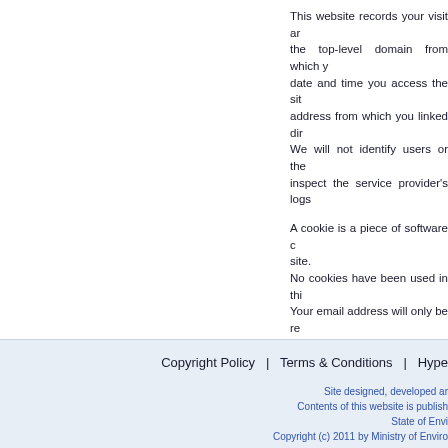This website records your visit and the top-level domain from which you date and time you access the site, address from which you linked dir. We will not identify users or the inspect the service provider's logs.
A cookie is a piece of software on site. No cookies have been used in this. Your email address will only be re have provided it and will not be a not be disclosed, without your co. If you are asked for any other Pu principles referred to in this priva please notify the concerned throu the use of the term "Personal In apparent or can be reasonably as
Copyright Policy  |  Terms & Conditions  |  Hype Site designed, developed ar Contents of this website is publish State of Envi Copyright (c) 2011 by Ministry of Enviro